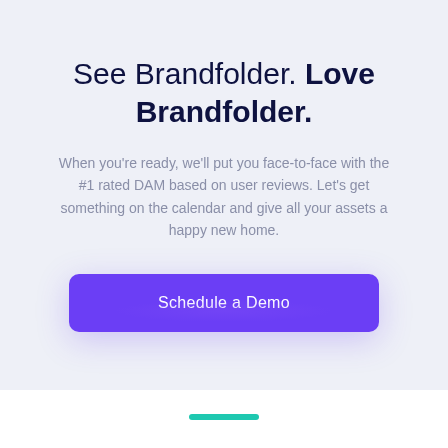See Brandfolder. Love Brandfolder.
When you're ready, we'll put you face-to-face with the #1 rated DAM based on user reviews. Let's get something on the calendar and give all your assets a happy new home.
[Figure (other): Purple 'Schedule a Demo' call-to-action button with rounded corners and a purple glow effect beneath it]